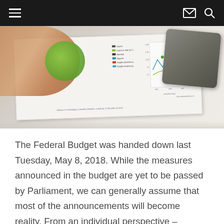Navigation bar with hamburger menu, envelope icon, and search icon
[Figure (photo): A hand holding a green circular object over a printed document showing charts and graphs on a table, with a grey electronic device (tablet or calculator) in the upper right corner.]
The Federal Budget was handed down last Tuesday, May 8, 2018. While the measures announced in the budget are yet to be passed by Parliament, we can generally assume that most of the announcements will become reality. From an individual perspective – especially if you do not grow illegal tobacco or participate in the black ...